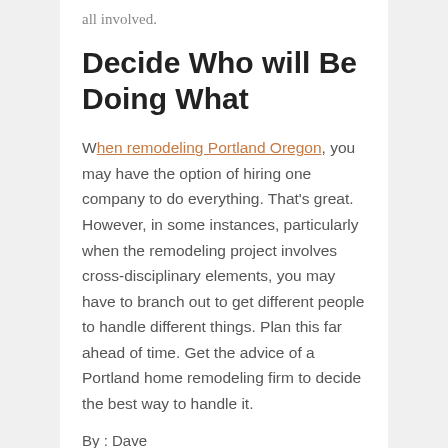all involved.
Decide Who will Be Doing What
When remodeling Portland Oregon, you may have the option of hiring one company to do everything. That's great. However, in some instances, particularly when the remodeling project involves cross-disciplinary elements, you may have to branch out to get different people to handle different things. Plan this far ahead of time. Get the advice of a Portland home remodeling firm to decide the best way to handle it.
By : Dave